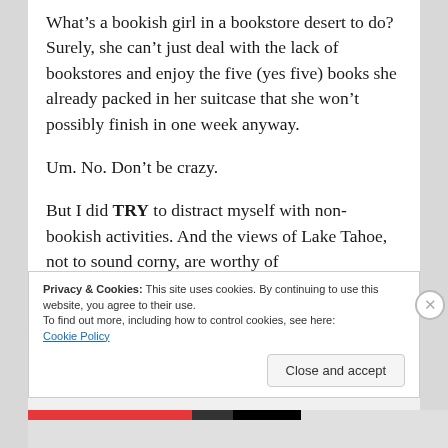What’s a bookish girl in a bookstore desert to do? Surely, she can’t just deal with the lack of bookstores and enjoy the five (yes five) books she already packed in her suitcase that she won’t possibly finish in one week anyway.
Um. No. Don’t be crazy.
But I did TRY to distract myself with non-bookish activities. And the views of Lake Tahoe, not to sound corny, are worthy of poetry. (Note: I am not known for my
Privacy & Cookies: This site uses cookies. By continuing to use this website, you agree to their use.
To find out more, including how to control cookies, see here: Cookie Policy
Close and accept